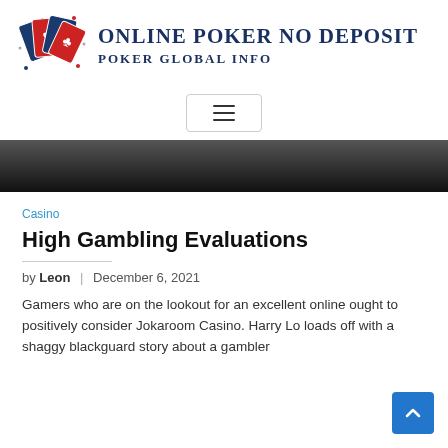ONLINE POKER NO DEPOSIT — POKER GLOBAL INFO
[Figure (logo): Playing cards logo with red and blue card suits (diamond, spade, heart, club) fanned out]
Casino
High Gambling Evaluations
by Leon | December 6, 2021
Gamers who are on the lookout for an excellent online ought to positively consider Jokaroom Casino. Harry Lo loads off with a shaggy blackguard story about a gambler